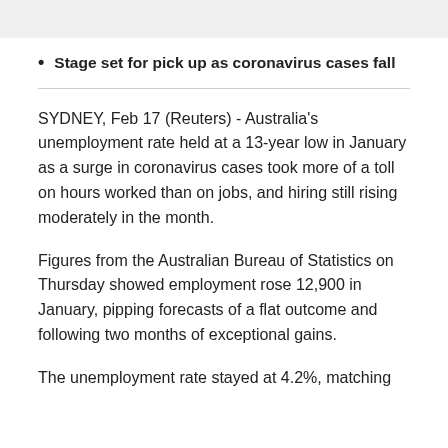Stage set for pick up as coronavirus cases fall
SYDNEY, Feb 17 (Reuters) - Australia's unemployment rate held at a 13-year low in January as a surge in coronavirus cases took more of a toll on hours worked than on jobs, and hiring still rising moderately in the month.
Figures from the Australian Bureau of Statistics on Thursday showed employment rose 12,900 in January, pipping forecasts of a flat outcome and following two months of exceptional gains.
The unemployment rate stayed at 4.2%, matching